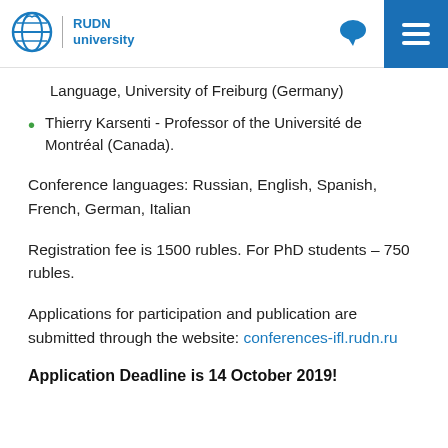RUDN university
Language, University of Freiburg (Germany)
Thierry Karsenti - Professor of the Université de Montréal (Canada).
Conference languages: Russian, English, Spanish, French, German, Italian
Registration fee is 1500 rubles. For PhD students – 750 rubles.
Applications for participation and publication are submitted through the website: conferences-ifl.rudn.ru
Application Deadline is 14 October 2019!